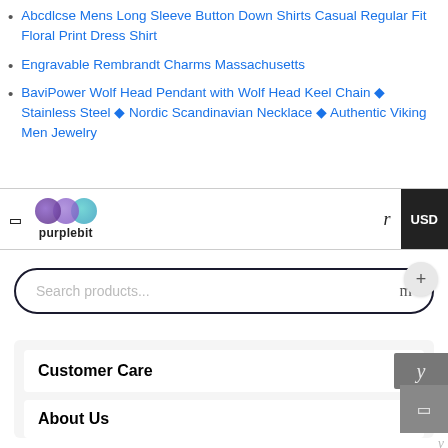Abcdlcse Mens Long Sleeve Button Down Shirts Casual Regular Fit Floral Print Dress Shirt
Engravable Rembrandt Charms Massachusetts
BaviPower Wolf Head Pendant with Wolf Head Keel Chain ◆ Stainless Steel ◆ Nordic Scandinavian Necklace ◆ Authentic Viking Men Jewelry
[Figure (logo): purplebit logo with three overlapping circles (purple, purple, teal) above the text 'purplebit']
Search products...
Customer Care
About Us